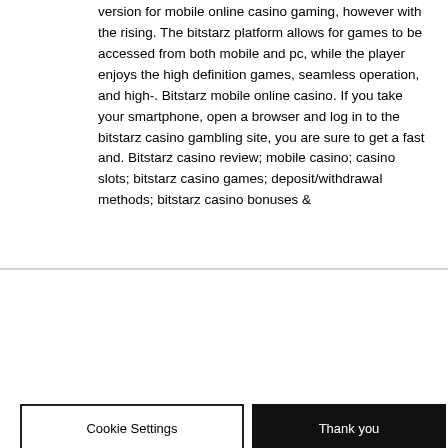version for mobile online casino gaming, however with the rising. The bitstarz platform allows for games to be accessed from both mobile and pc, while the player enjoys the high definition games, seamless operation, and high-. Bitstarz mobile online casino. If you take your smartphone, open a browser and log in to the bitstarz casino gambling site, you are sure to get a fast and. Bitstarz casino review; mobile casino; casino slots; bitstarz casino games; deposit/withdrawal methods; bitstarz casino bonuses &amp;
03 DECEMBER 2021 - Please note that in-person training has been denied as COVID cases are increasing. We are waiting for approval to continue to train for the future. If you have any questions, please contact Jeremy.Kearney@cadets.gc.ca
Cookie Settings
Thank you